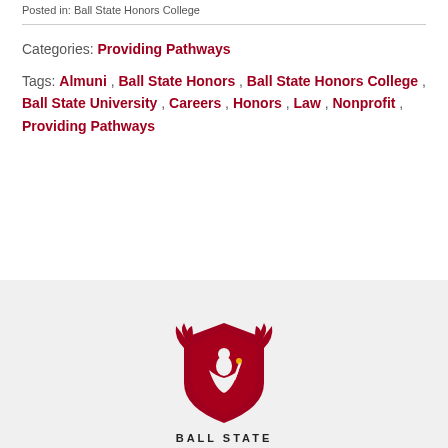Posted in: Ball State Honors College
Categories: Providing Pathways
Tags: Almuni , Ball State Honors , Ball State Honors College , Ball State University , Careers , Honors , Law , Nonprofit , Providing Pathways
[Figure (logo): Ball State University cardinal and shield logo with wings, in red, with 'BALL STATE' text below]